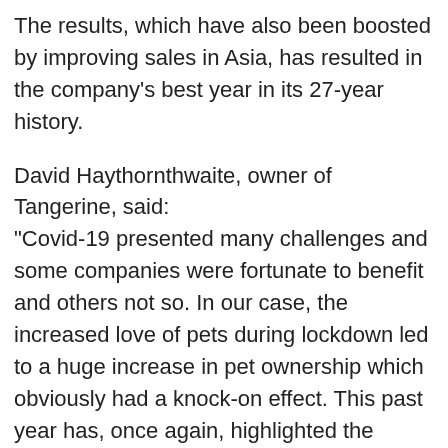The results, which have also been boosted by improving sales in Asia, has resulted in the company's best year in its 27-year history.
David Haythornthwaite, owner of Tangerine, said: "Covid-19 presented many challenges and some companies were fortunate to benefit and others not so. In our case, the increased love of pets during lockdown led to a huge increase in pet ownership which obviously had a knock-on effect. This past year has, once again, highlighted the importance of controlling your manufacturing process from start to finish.
"I'm incredibly proud of the team across the Tangerine Group for this achievement. We continued to operate throughout the Covid-19 pandemic without losing a